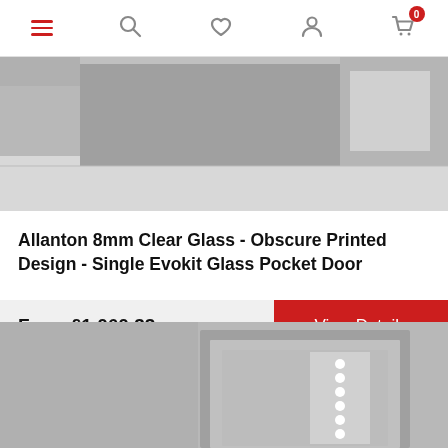Navigation bar with menu, search, wishlist, account, and cart (0) icons
[Figure (photo): Product photo of a pocket door with glass, light grey interior corridor scene]
Allanton 8mm Clear Glass - Obscure Printed Design - Single Evokit Glass Pocket Door
From £1,060.33
View Details
[Figure (photo): Second product photo showing a grey door with white decorative dot panel design]